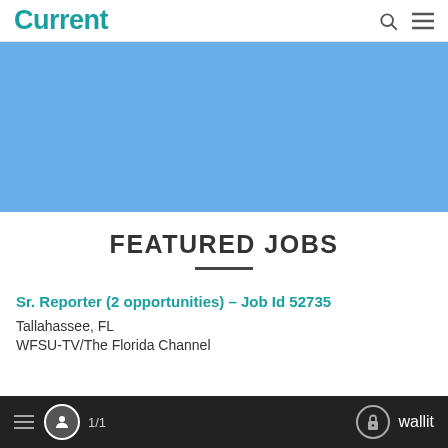Current
[Figure (other): Blue banner image area, solid light blue rectangle used as a banner/advertisement placeholder]
FEATURED JOBS
Sr. Reporter (2 opportunities) – Job Id 52735
Tallahassee, FL
WFSU-TV/The Florida Channel
≡  [user icon]  1/1  [lock icon] wallit